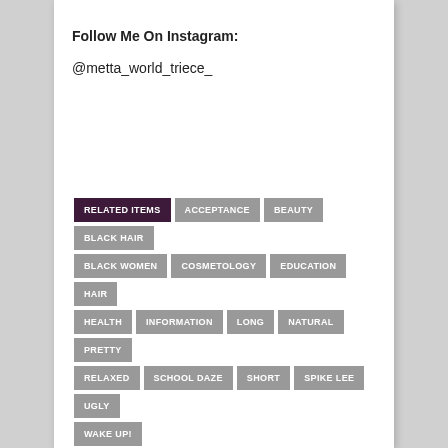Follow Me On Instagram:
@metta_world_triece_
RELATED ITEMS  ACCEPTANCE  BEAUTY  BLACK HAIR  BLACK WOMEN  COSMETOLOGY  EDUCATION  HAIR  HEALTH  INFORMATION  LONG  NATURAL  PRETTY  RELAXED  SCHOOL DAZE  SHORT  SPIKE LEE  UGLY  WAKE UP!
← Previous Story
Metta World Triece: 3 Reasons Why Viola Davis is The Bomb!
Next Story →
Law & Order actress says Cosby instructed her not to tell anyone what